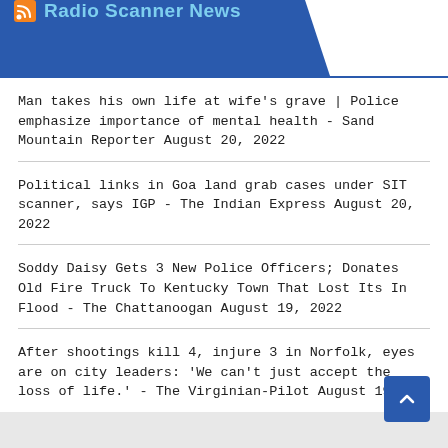Radio Scanner News
Man takes his own life at wife's grave | Police emphasize importance of mental health - Sand Mountain Reporter August 20, 2022
Political links in Goa land grab cases under SIT scanner, says IGP - The Indian Express August 20, 2022
Soddy Daisy Gets 3 New Police Officers; Donates Old Fire Truck To Kentucky Town That Lost Its In Flood - The Chattanoogan August 19, 2022
After shootings kill 4, injure 3 in Norfolk, eyes are on city leaders: 'We can't just accept the loss of life.' - The Virginian-Pilot August 19